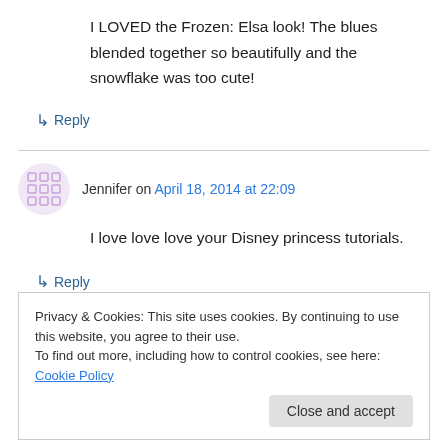I LOVED the Frozen: Elsa look! The blues blended together so beautifully and the snowflake was too cute!
↳ Reply
Jennifer on April 18, 2014 at 22:09
I love love love your Disney princess tutorials.
↳ Reply
Privacy & Cookies: This site uses cookies. By continuing to use this website, you agree to their use. To find out more, including how to control cookies, see here: Cookie Policy
Close and accept